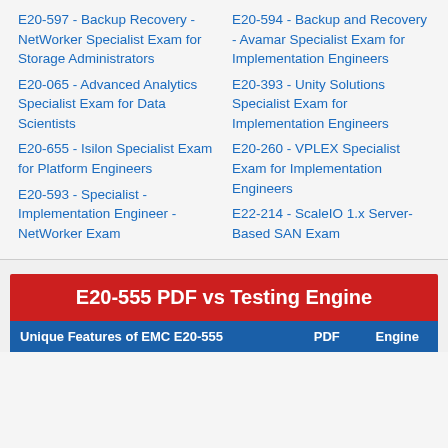E20-597 - Backup Recovery - NetWorker Specialist Exam for Storage Administrators
E20-594 - Backup and Recovery - Avamar Specialist Exam for Implementation Engineers
E20-065 - Advanced Analytics Specialist Exam for Data Scientists
E20-393 - Unity Solutions Specialist Exam for Implementation Engineers
E20-655 - Isilon Specialist Exam for Platform Engineers
E20-260 - VPLEX Specialist Exam for Implementation Engineers
E20-593 - Specialist - Implementation Engineer - NetWorker Exam
E22-214 - ScaleIO 1.x Server-Based SAN Exam
E20-555 PDF vs Testing Engine
| Unique Features of EMC E20-555 | PDF | Engine |
| --- | --- | --- |